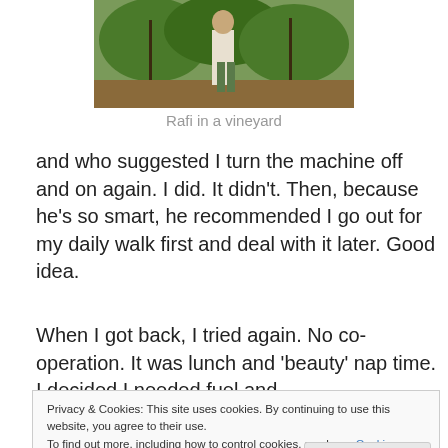[Figure (photo): A person standing in a vineyard with green foliage visible]
Rafi in a vineyard
and who suggested I turn the machine off and on again. I did. It didn't. Then, because he's so smart, he recommended I go out for my daily walk first and deal with it later. Good idea.
When I got back, I tried again. No co-operation. It was lunch and 'beauty' nap time. I decided I needed fuel and
Privacy & Cookies: This site uses cookies. By continuing to use this website, you agree to their use.
To find out more, including how to control cookies, see here: Cookie Policy
Close and accept